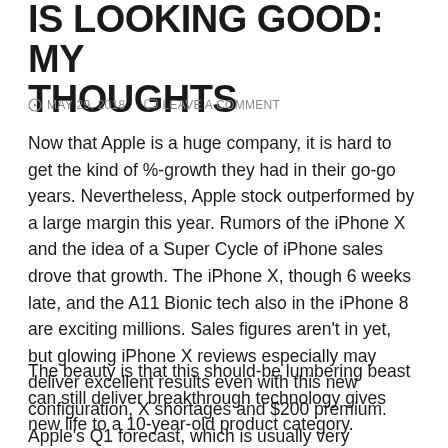IS LOOKING GOOD: MY THOUGHTS
⊙ MAY 29, 2018   💬 LEAVE A COMMENT
Now that Apple is a huge company, it is hard to get the kind of %-growth they had in their go-go years. Nevertheless, Apple stock outperformed by a large margin this year. Rumors of the iPhone X and the idea of a Super Cycle of iPhone sales drove that growth. The iPhone X, though 6 weeks late, and the A11 Bionic tech also in the iPhone 8 are exciting millions. Sales figures aren't in yet, but glowing iPhone X reviews especially may deliver excellent results even with this new configuration, X shortages and $200 premium. Apple's Q1 forecast, which is usually very conservative, is for XX% growth.
The beauty is that this should-be lumbering beast can still deliver breakthrough technology gives new life to a 10-year-old product category.